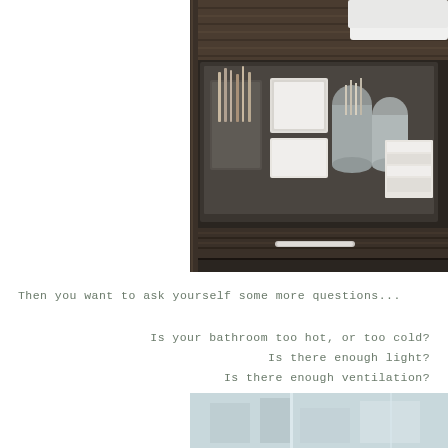[Figure (photo): Close-up photo of an open bathroom vanity drawer with dark wood veneer exterior, containing organized white storage containers, cosmetic brushes in holders, and folded white towels/linens.]
Then you want to ask yourself some more questions...
Is your bathroom too hot, or too cold?
Is there enough light?
Is there enough ventilation?
Enough counter space?
[Figure (photo): Partial view of a modern bathroom interior with light blue/grey tones.]